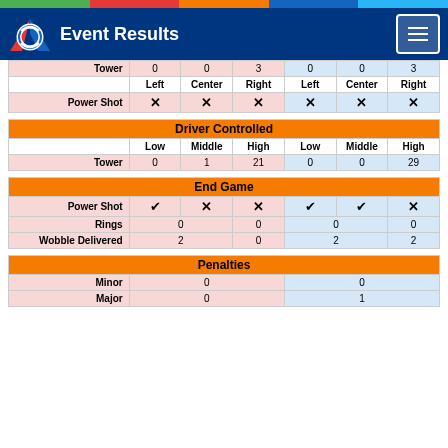Event Results
|  | Left | Center | Right | Left | Center | Right |
| --- | --- | --- | --- | --- | --- | --- |
| Tower | 0 | 0 | 3 | 0 | 0 | 3 |
|  | Left | Center | Right | Left | Center | Right |
| Power Shot | ✕ | ✕ | ✕ | ✕ | ✕ | ✕ |
|  | Low | Middle | High | Low | Middle | High |
| --- | --- | --- | --- | --- | --- | --- |
| Driver Controlled |  |  |  |  |  |  |
| Tower | 0 | 1 | 21 | 0 | 0 | 29 |
|  | col1 | col2 | col3 | col4 |
| --- | --- | --- | --- | --- |
| End Game |  |  |  |  |
| Power Shot | ✔ | ✕ | ✕ | ✔ | ✔ | ✕ |
| Rings | 0 | 0 | 0 | 0 |
| Wobble Delivered | 2 | 0 | 2 | 2 |
|  | red | blue |
| --- | --- | --- |
| Penalties |  |  |
| Minor | 0 | 0 |
| Major | 0 | 1 |